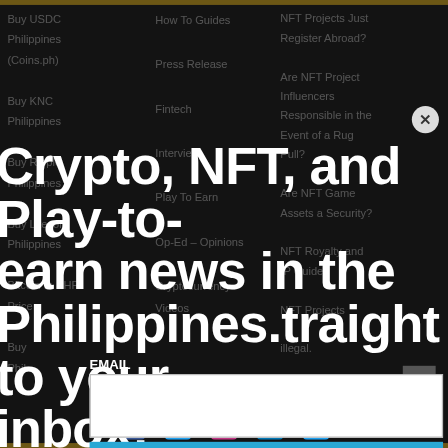Buy USDC Philippines (Coins.ph)
Buy KNC Philippines
Buy Ripple Philippines
Buy Litecoin Philippines
Bitcoin to PHP Price
How To Guides
Press Release
Fintech
Interview
Play To Earn
Op-Ed – Opinions
Cryptocurrency Videos
NFT Projects Just Register Abroad?
Are NFT Project Influencers Responsible in the Event of a Rug Pull?
Are NFT Game Assets a Security?
NFT Royalty and IP Guide
NFT Projects
illegal.
Crypto, NFT, and Play-to-earn news in the Philippines.traight to your inbox!
EMAIL
SUBSCRIBE NOW!